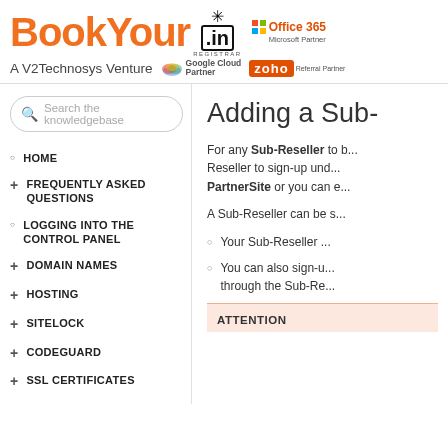[Figure (logo): BookYour.in logo with .in registrar badge, Office 365 Microsoft Partner badge, Google Cloud Partner badge, Zoho Referral Partner badge, and 'A V2Technosys Venture' tagline]
[Figure (screenshot): Search box with placeholder 'Search the knowledgebase']
HOME
FREQUENTLY ASKED QUESTIONS
LOGGING INTO THE CONTROL PANEL
DOMAIN NAMES
HOSTING
SITELOCK
CODEGUARD
SSL CERTIFICATES
G SUITE (FORMERLY GOOGLE APPS FOR WORK)
Adding a Sub-
For any Sub-Reseller to b... Reseller to sign-up und... PartnerSite or you can e...
A Sub-Reseller can be s...
Your Sub-Reseller ...
You can also sign-u... through the Sub-Re...
ATTENTION